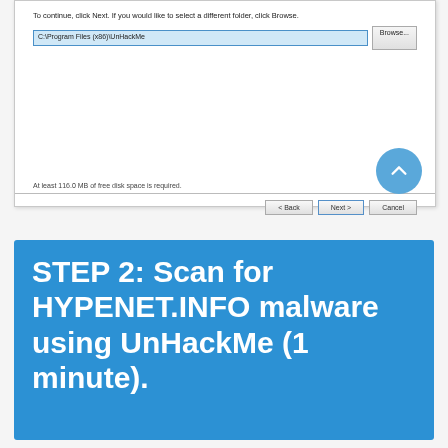[Figure (screenshot): Windows installer dialog showing a destination folder path 'C:\Program Files (x86)\UnHackMe' with a Browse button, disk space notice 'At least 116.0 MB of free disk space is required.', and buttons: Back, Next, Cancel.]
STEP 2: Scan for HYPENET.INFO malware using UnHackMe (1 minute).